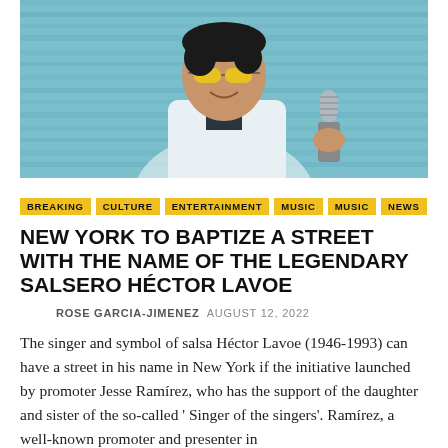[Figure (photo): Photo of a man wearing yellow-tinted sunglasses, a white tuxedo jacket with a bow tie, holding a vintage microphone. Background is a light blue painted wood wall.]
BREAKING
CULTURE
ENTERTAINMENT
MUSIC
MUSIC
NEWS
NEW YORK TO BAPTIZE A STREET WITH THE NAME OF THE LEGENDARY SALSERO HÉCTOR LAVOE
ROSE GARCIA-JIMENEZ  AUGUST 12, 2022
The singer and symbol of salsa Héctor Lavoe (1946-1993) can have a street in his name in New York if the initiative launched by promoter Jesse Ramírez, who has the support of the daughter and sister of the so-called ' Singer of the singers'. Ramírez, a well-known promoter and presenter in